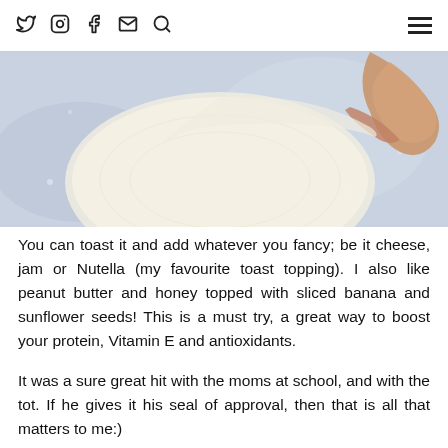Twitter Instagram Facebook Email Search [hamburger menu]
[Figure (photo): A hand spreading or lifting a round flatbread/dough on a light blue-grey surface, viewed from above.]
You can toast it and add whatever you fancy; be it cheese, jam or Nutella (my favourite toast topping).  I also like peanut butter and honey topped with sliced banana and sunflower seeds! This is a must try, a great way to boost your protein, Vitamin E and antioxidants.
It was a sure great hit with the moms at school, and with the tot. If he gives it his seal of approval, then that is all that matters to me:)
How do you eat your bread?